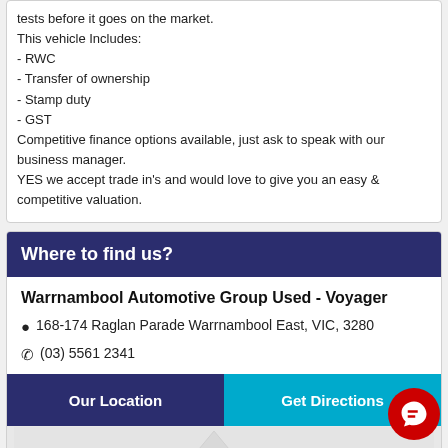tests before it goes on the market.
This vehicle Includes:
- RWC
- Transfer of ownership
- Stamp duty
- GST
Competitive finance options available, just ask to speak with our business manager.
YES we accept trade in's and would love to give you an easy & competitive valuation.
Where to find us?
Warrnambool Automotive Group Used - Voyager
168-174 Raglan Parade Warrnambool East, VIC, 3280
(03) 5561 2341
Our Location
Get Directions